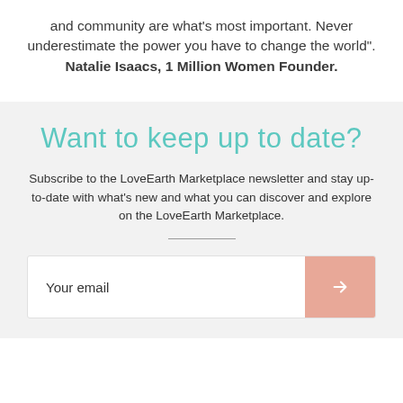and community are what's most important. Never underestimate the power you have to change the world". Natalie Isaacs, 1 Million Women Founder.
Want to keep up to date?
Subscribe to the LoveEarth Marketplace newsletter and stay up-to-date with what's new and what you can discover and explore on the LoveEarth Marketplace.
Your email